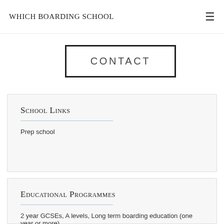Which Boarding School
CONTACT
School Links
Prep school
Educational Programmes
2 year GCSEs, A levels, Long term boarding education (one year or more)